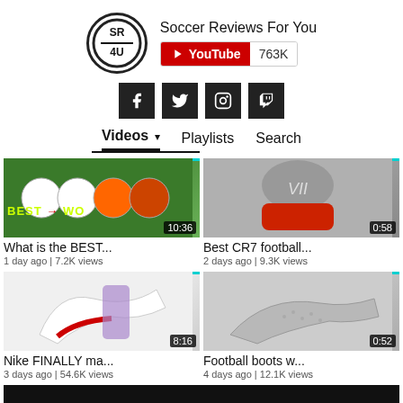[Figure (logo): Soccer Reviews For You channel logo - circular badge with SR4U text, YouTube subscriber badge showing 763K]
Soccer Reviews For You
[Figure (infographic): Social media icon buttons: Facebook, Twitter, Instagram, Twitch]
Videos ▾   Playlists   Search
[Figure (screenshot): Video thumbnail: soccer balls on grass, BEST→WO text overlay, duration 10:36]
What is the BEST...
1 day ago | 7.2K views
[Figure (screenshot): Video thumbnail: CR7 football boot sole closeup gray/red, duration 0:58]
Best CR7 football...
2 days ago | 9.3K views
[Figure (screenshot): Video thumbnail: Nike football boots white/red/purple, duration 8:16]
Nike FINALLY ma...
3 days ago | 54.6K views
[Figure (screenshot): Video thumbnail: Yeezy football boots gray, duration 0:52]
Football boots w...
4 days ago | 12.1K views
[Figure (screenshot): Partial video thumbnail at bottom, dark/black]